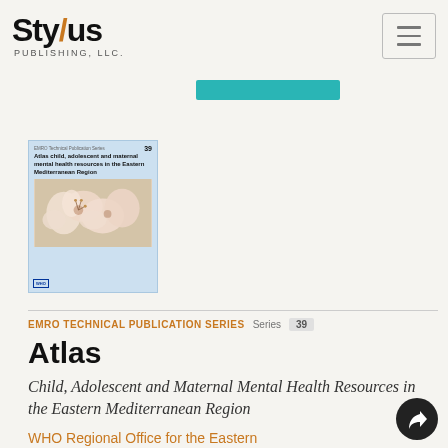[Figure (logo): Stylus Publishing LLC logo with orange diagonal slash through the letter 'y']
[Figure (photo): Book cover: Atlas child, adolescent and maternal mental health resources in the Eastern Mediterranean Region, EMRO Technical Publication Series 39, with cherry blossom flowers photo]
EMRO TECHNICAL PUBLICATION SERIES  Series  39
Atlas
Child, Adolescent and Maternal Mental Health Resources in the Eastern Mediterranean Region
WHO Regional Office for the Eastern